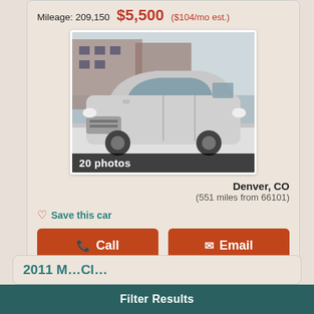Mileage: 209,150  $5,500 ($104/mo est.)
[Figure (photo): Silver minivan (Chrysler Town & Country) parked outside a brick building in winter conditions]
20 photos
Denver, CO
(551 miles from 66101)
Save this car
Call
Email
2011 M...Cl...
Filter Results